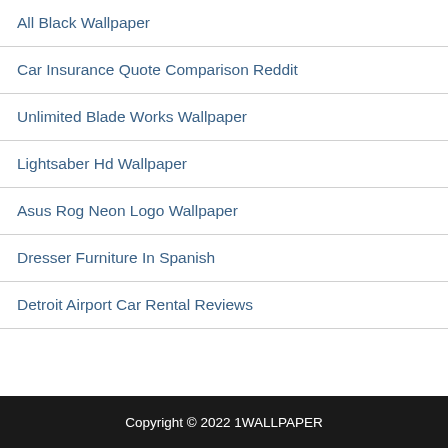All Black Wallpaper
Car Insurance Quote Comparison Reddit
Unlimited Blade Works Wallpaper
Lightsaber Hd Wallpaper
Asus Rog Neon Logo Wallpaper
Dresser Furniture In Spanish
Detroit Airport Car Rental Reviews
Copyright © 2022 1WALLPAPER